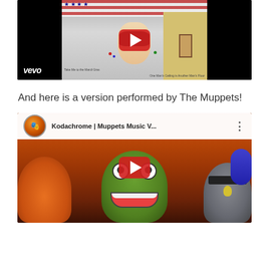[Figure (screenshot): YouTube embedded video player showing a Vevo music video thumbnail with a masked face and album art, dark background with center content]
And here is a version performed by The Muppets!
[Figure (screenshot): YouTube embedded video player showing Kodachrome | Muppets Music V... with Muppet characters visible, channel icon shown in header bar]